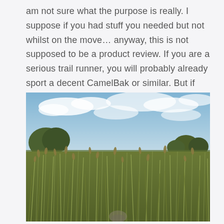am not sure what the purpose is really. I suppose if you had stuff you needed but not whilst on the move... anyway, this is not supposed to be a product review. If you are a serious trail runner, you will probably already sport a decent CamelBak or similar. But if you are just getting into the idea of it, this is worth a punt.
[Figure (photo): Outdoor photograph taken from ground level looking across a field of tall wild grasses and seed heads. In the background there are trees and a cloudy blue sky with white clouds. A blurred animal or subject is partially visible at the bottom centre of the image.]